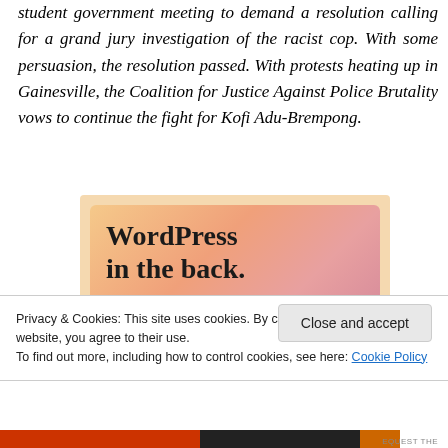student government meeting to demand a resolution calling for a grand jury investigation of the racist cop. With some persuasion, the resolution passed. With protests heating up in Gainesville, the Coalition for Justice Against Police Brutality vows to continue the fight for Kofi Adu-Brempong.
[Figure (illustration): Advertisement banner with colorful gradient background (orange, salmon, pink/mauve tones) reading 'WordPress in the back.' in bold serif text.]
Privacy & Cookies: This site uses cookies. By continuing to use this website, you agree to their use.
To find out more, including how to control cookies, see here: Cookie Policy
Close and accept